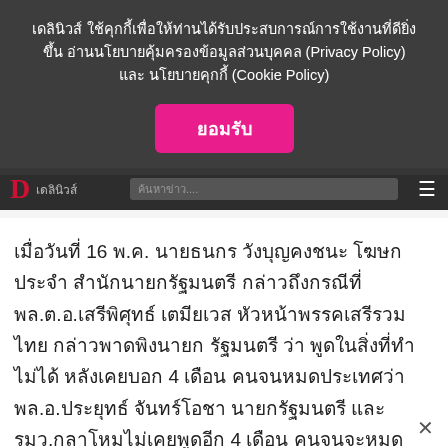เดลินิวส์ ใช้คุกกี้เพื่อให้ท่านได้รับประสบการณ์การใช้งานที่ดียิ่งขึ้น อ่านนโยบายคุ้มครองข้อมูลส่วนบุคคล (Privacy Policy) และ นโยบายคุกกี้ (Cookie Policy)
ยอมรับ
[Figure (screenshot): Dailynews website header with red logo and search bar]
เมื่อวันที่ 16 พ.ค. นายธนกร วังบุญคงชนะ โฆษกประจำสำนักนายกรัฐมนตรี กล่าวถึงกรณีที่ พล.ต.อ.เสรีพิศุทธ์ เตมียเวส หัวหน้าพรรคเสรีรวมไทย กล่าวพาดพิงนายกรัฐมนตรี ว่า พูดในสิ่งที่ทำไม่ได้ หลังเคยบอก 4 เดือน คนจนหมดประเทศว่า พล.อ.ประยุทธ์ จันทร์โอชา นายกรัฐมนตรี และ รมว.กลาโหมไม่เคยพูดอีก 4 เดือน คนจนจะหมดประเทศ สามารถไปย้อนดูได้ พล.ต.อ.เสรี